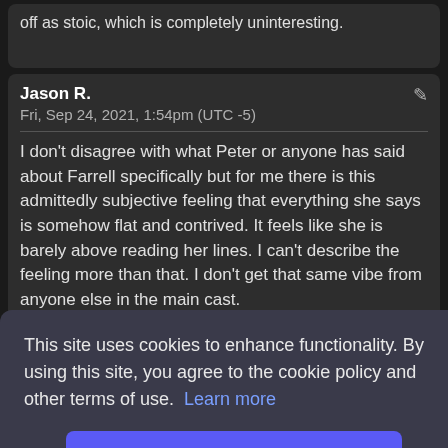off as stoic, which is completely uninteresting.
Jason R.
Fri, Sep 24, 2021, 1:54pm (UTC -5)

I don't disagree with what Peter or anyone has said about Farrell specifically but for me there is this admittedly subjective feeling that everything she says is somehow flat and contrived. It feels like she is barely above reading her lines. I can't describe the feeling more than that. I don't get that same vibe from anyone else in the main cast.
This site uses cookies to enhance functionality. By using this site, you agree to the cookie policy and other terms of use. Learn more
Agree
I always thought Dax was wonderful and wonderfully acted